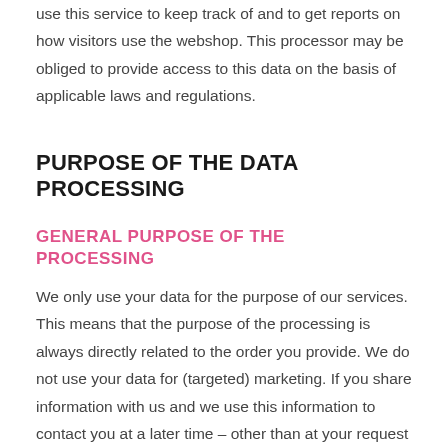use this service to keep track of and to get reports on how visitors use the webshop. This processor may be obliged to provide access to this data on the basis of applicable laws and regulations.
PURPOSE OF THE DATA PROCESSING
GENERAL PURPOSE OF THE PROCESSING
We only use your data for the purpose of our services. This means that the purpose of the processing is always directly related to the order you provide. We do not use your data for (targeted) marketing. If you share information with us and we use this information to contact you at a later time – other than at your request – we will ask you for explicit permission for this. Your data